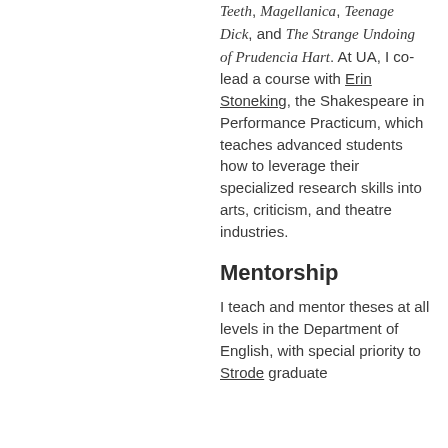Teeth, Magellanica, Teenage Dick, and The Strange Undoing of Prudencia Hart. At UA, I co-lead a course with Erin Stoneking, the Shakespeare in Performance Practicum, which teaches advanced students how to leverage their specialized research skills into arts, criticism, and theatre industries.
Mentorship
I teach and mentor theses at all levels in the Department of English, with special priority to Strode graduate